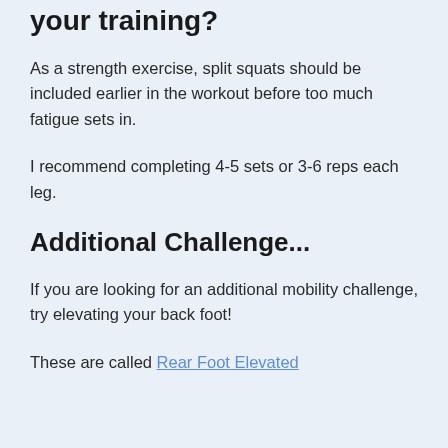where to include them in your training?
As a strength exercise, split squats should be included earlier in the workout before too much fatigue sets in.
I recommend completing 4-5 sets or 3-6 reps each leg.
Additional Challenge...
If you are looking for an additional mobility challenge, try elevating your back foot!
These are called Rear Foot Elevated